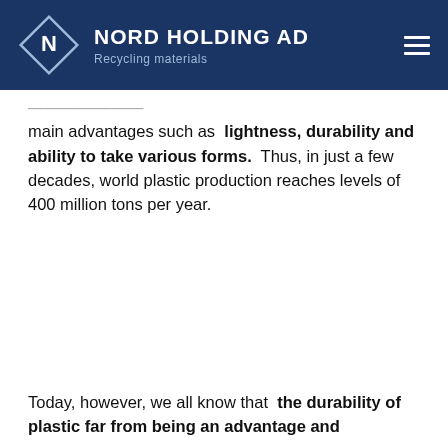NORD HOLDING AD — Recycling materials
main advantages such as lightness, durability and ability to take various forms. Thus, in just a few decades, world plastic production reaches levels of 400 million tons per year.
Today, however, we all know that the durability of plastic far from being an advantage and